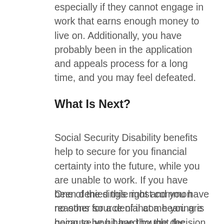especially if they cannot engage in work that earns enough money to live on. Additionally, you have probably been in the application and appeals process for a long time, and you may feel defeated.
What Is Next?
Social Security Disability benefits help to secure for you financial certainty into the future, while you are unable to work. If you have been denied this right and you have no other source of income you are going to be hit hard by the decision.
One of the single most common reasons for a denial at a hearing is because you have thought the process was simple and failed to